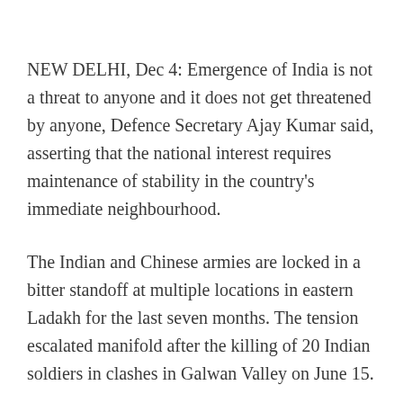NEW DELHI, Dec 4: Emergence of India is not a threat to anyone and it does not get threatened by anyone, Defence Secretary Ajay Kumar said, asserting that the national interest requires maintenance of stability in the country's immediate neighbourhood.
The Indian and Chinese armies are locked in a bitter standoff at multiple locations in eastern Ladakh for the last seven months. The tension escalated manifold after the killing of 20 Indian soldiers in clashes in Galwan Valley on June 15.